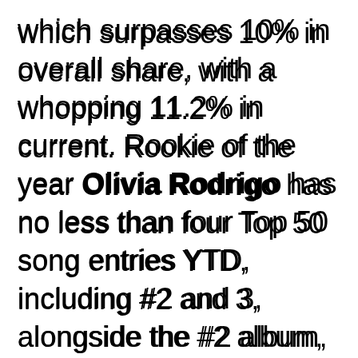which surpasses 10% in overall share, with a whopping 11.2% in current. Rookie of the year Olivia Rodrigo has no less than four Top 50 song entries YTD, including #2 and 3, alongside the #2 album, while Moneybagg Yo (#16), the late Juice WRLD (#17 and 28), Billie Eilish (#15 and 41), Roc Nation's J. Cole (#23), Machine Gun Kelly (#35) and Hall of Famer Eminem (#49) give...